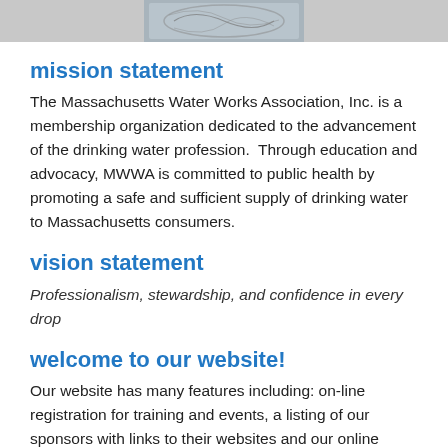[Figure (illustration): Decorative header image with ornate design, partially visible at top of page]
mission statement
The Massachusetts Water Works Association, Inc. is a membership organization dedicated to the advancement of the drinking water profession.  Through education and advocacy, MWWA is committed to public health by promoting a safe and sufficient supply of drinking water to Massachusetts consumers.
vision statement
Professionalism, stewardship, and confidence in every drop
welcome to our website!
Our website has many features including: on-line registration for training and events, a listing of our sponsors with links to their websites and our online business directory.  Members